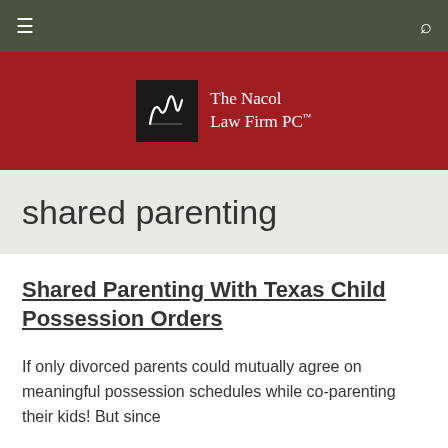≡  [search icon]
[Figure (logo): The Nacol Law Firm PC logo with black square background and white script mark, white serif text reading 'The Nacol Law Firm PC']
shared parenting
Shared Parenting With Texas Child Possession Orders
If only divorced parents could mutually agree on meaningful possession schedules while co-parenting their kids! But since